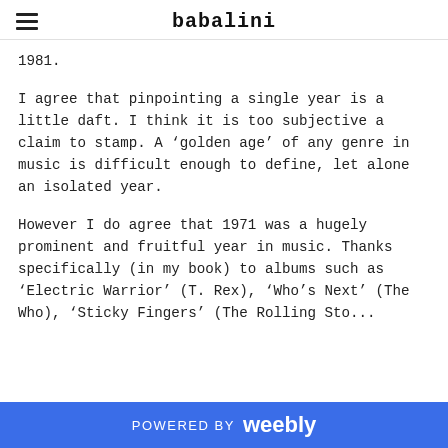babalini
1981.
I agree that pinpointing a single year is a little daft. I think it is too subjective a claim to stamp. A ‘golden age’ of any genre in music is difficult enough to define, let alone an isolated year.
However I do agree that 1971 was a hugely prominent and fruitful year in music. Thanks specifically (in my book) to albums such as ‘Electric Warrior’ (T. Rex), ‘Who’s Next’ (The Who), ‘Sticky Fingers’ (The Rolling Sto...
POWERED BY weebly